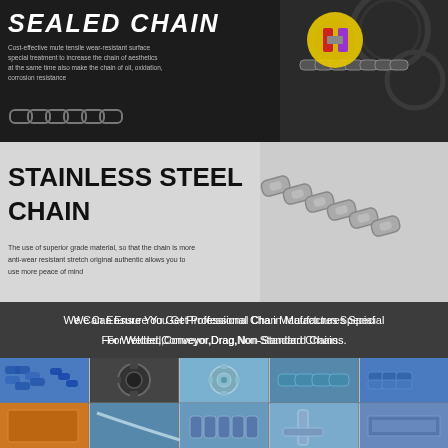[Figure (infographic): Sealed chain promotional banner: dark background with chain image, gear imagery, and a cross-section diagram showing sealed chain components in yellow/purple.]
SEALED CHAIN
Cost-effective mute tensile wear-resistant surface special treatment to increase the chain of aesthetics at the same time also make the chain of oil, oxidation, corrosion resistance
[Figure (infographic): Stainless Steel Chain section: grey background with stainless chain image running along the right side.]
STAINLESS STEEL CHAIN
The use of superior grade material, so that the chain is more anti-wear resistant stretch original authentic allows you to use more peace of mind
[Figure (infographic): Dark industrial background showing multiple chain component product photos: welded chain attachments, conveyor chain links, drag chain components, non-standard special chain parts.]
We Can Ensure You Get Professional Chain Maufactures Special For Welded,Conveyor,Drag,Non-Standard Chains.
[Figure (photo): Grid of 10 product photos showing various chain types and sprockets: roller chains, sprocket gears, conveyor chains, chain attachments, and chain components in blue-tinted and standard colors.]